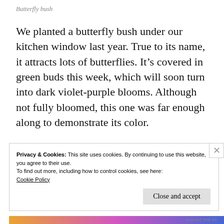Butterfly bush
We planted a butterfly bush under our kitchen window last year. True to its name, it attracts lots of butterflies. It’s covered in green buds this week, which will soon turn into dark violet-purple blooms. Although not fully bloomed, this one was far enough along to demonstrate its color.
Privacy & Cookies: This site uses cookies. By continuing to use this website, you agree to their use.
To find out more, including how to control cookies, see here:
Cookie Policy
Close and accept